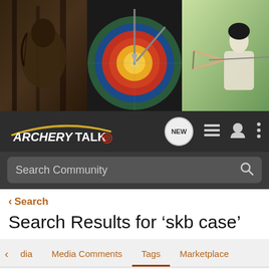[Figure (photo): Banner image showing three archery-related photos: a hunter in camouflage in woods, a close-up of an archery target with arrows, and a female archer drawing a compound bow outdoors.]
[Figure (logo): ArcheryTalk logo with stylized text and target icon on dark navigation bar, with NEW speech bubble icon, list icon, user icon, and more options icon.]
Search Community
< Search
Search Results for ‘skb case’
dia   Media Comments   Tags   Marketplace
Search Tags
× skb case